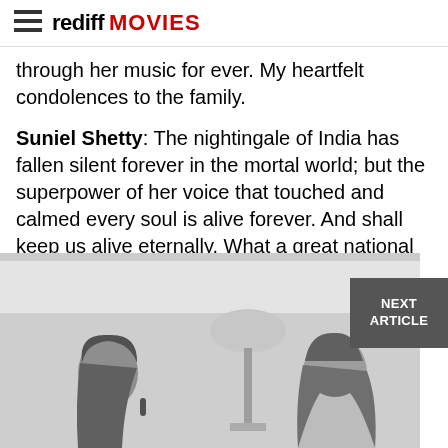rediff MOVIES
through her music for ever. My heartfelt condolences to the family.
Suniel Shetty: The nightingale of India has fallen silent forever in the mortal world; but the superpower of her voice that touched and calmed every soul is alive forever. And shall keep us alive eternally. What a great national loss #LataMangeshkarji
Sobhita Dhulipala: The nightingale has flown. Rest in peace
[Figure (photo): Black and white photograph of two women in conversation, one facing left holding a microphone, the other facing right, with a lamp visible in the background.]